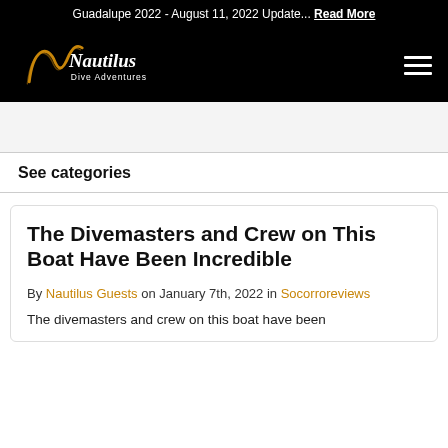Guadalupe 2022 - August 11, 2022 Update... Read More
[Figure (logo): Nautilus Dive Adventures logo in gold/white on black background]
See categories
The Divemasters and Crew on This Boat Have Been Incredible
By Nautilus Guests on January 7th, 2022 in Socorroreviews
The divemasters and crew on this boat have been